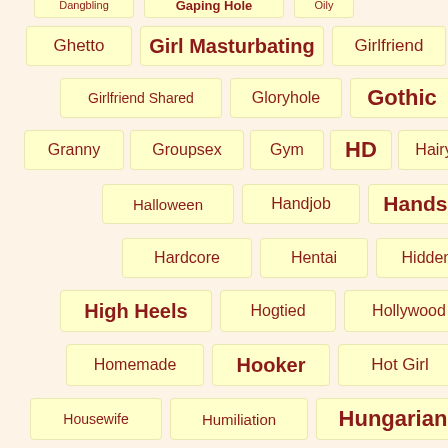Ghetto
Girl Masturbating
Girlfriend
Girlfriend Shared
Gloryhole
Gothic
Granny
Groupsex
Gym
HD
Hairy
Halloween
Handjob
Handsome
Hardcore
Hentai
Hidden Cam
High Heels
Hogtied
Hollywood
Homemade
Hooker
Hot Girl
Housewife
Humiliation
Hungarian
Husband
In The Car
Indian
Indonesian
Interracial
Interview